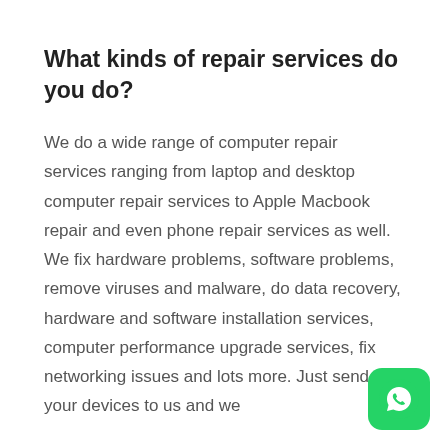What kinds of repair services do you do?
We do a wide range of computer repair services ranging from laptop and desktop computer repair services to Apple Macbook repair and even phone repair services as well. We fix hardware problems, software problems, remove viruses and malware, do data recovery, hardware and software installation services, computer performance upgrade services, fix networking issues and lots more. Just send your devices to us and we
[Figure (logo): WhatsApp icon button — green rounded square with white phone handset logo]